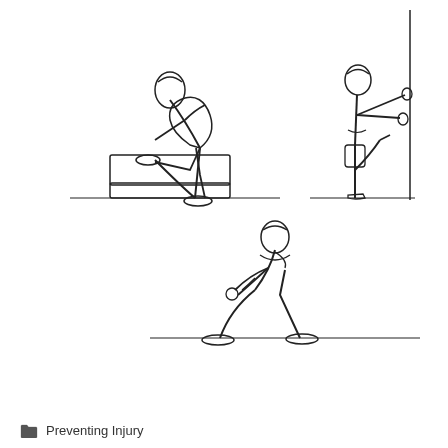[Figure (illustration): Three line-drawn illustrations of exercise stretches: top-left shows a person bending forward with one leg raised on a step/block; top-right shows a person standing on one leg with the other leg raised and hands pressed against a wall; bottom-center shows a person in a lunge position bending forward with hands on the front knee.]
Preventing Injury